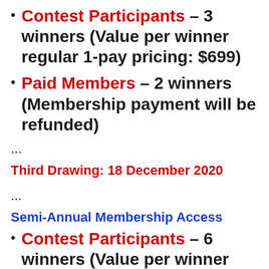Contest Participants – 3 winners (Value per winner regular 1-pay pricing: $699)
Paid Members – 2 winners (Membership payment will be refunded)
...
Third Drawing: 18 December 2020
...
Semi-Annual Membership Access
Contest Participants – 6 winners (Value per winner regular pricing: $252)